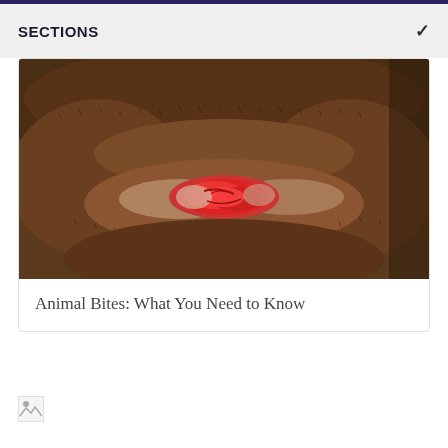SECTIONS
[Figure (photo): Close-up photograph of a human lip with an animal bite wound showing laceration and tissue damage in the center of the lower lip area]
Animal Bites: What You Need to Know
[Figure (photo): Broken/loading image icon in the lower left area of the page]